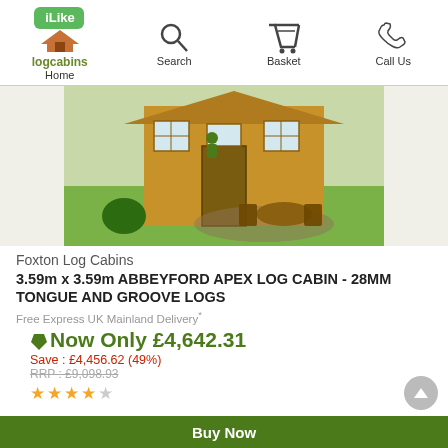iLike logcabins — Home | Search | Basket | Call Us
[Figure (photo): A wooden log cabin with large windows and a veranda, with outdoor garden furniture on a patio in front, surrounded by a lawn.]
Foxton Log Cabins
3.59m x 3.59m ABBEYFORD APEX LOG CABIN - 28MM TONGUE AND GROOVE LOGS
Free Express UK Mainland Delivery*
Now Only £4,642.31
Save : £4,456.62 (49%)
RRP : £9,098.93
★★★★☆
Buy Now